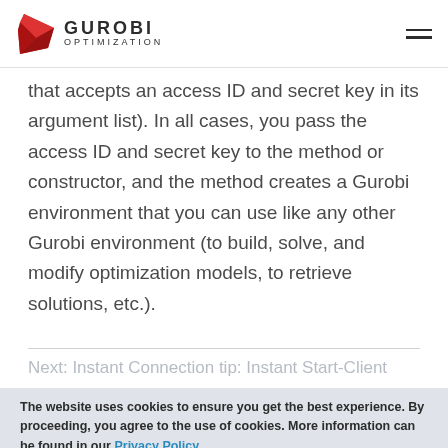GUROBI OPTIMIZATION
that accepts an access ID and secret key in its argument list). In all cases, you pass the access ID and secret key to the method or constructor, and the method creates a Gurobi environment that you can use like any other Gurobi environment (to build, solve, and modify optimization models, to retrieve solutions, etc.).
The website uses cookies to ensure you get the best experience. By proceeding, you agree to the use of cookies. More information can be found in our Privacy Policy
Agree & Close